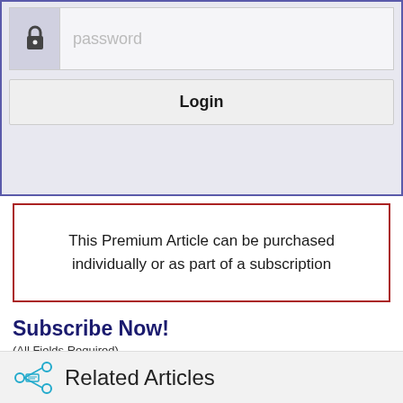[Figure (screenshot): Password input field with lock icon and Login button inside a blue-bordered gray box]
This Premium Article can be purchased individually or as part of a subscription
Subscribe Now!
(All Fields Required)
Fill out form below to subscribe +
Related Articles